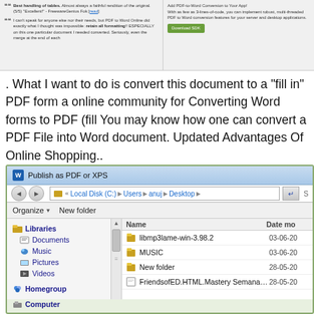[Figure (screenshot): Top portion of a webpage showing PDF to Word conversion tool reviews and SDK download button on the right]
. What I want to do is convert this document to a "fill in" PDF form a online community for Converting Word forms to PDF (fill You may know how one can convert a PDF File into Word document. Updated Advantages Of Online Shopping..
[Figure (screenshot): Windows Explorer dialog titled 'Publish as PDF or XPS' showing file browser with Libraries navigation panel on the left and files including libmp3lame-win-3.98.2, MUSIC, New folder, and FriendsofED.HTML.Mastery Semanand.St... on the right with Date modified column]